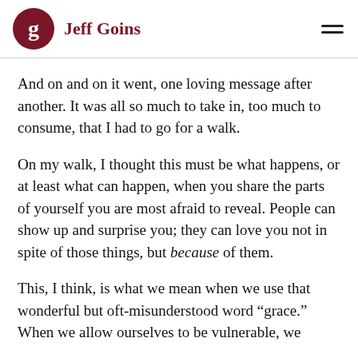Jeff Goins
And on and on it went, one loving message after another. It was all so much to take in, too much to consume, that I had to go for a walk.
On my walk, I thought this must be what happens, or at least what can happen, when you share the parts of yourself you are most afraid to reveal. People can show up and surprise you; they can love you not in spite of those things, but because of them.
This, I think, is what we mean when we use that wonderful but oft-misunderstood word “grace.” When we allow ourselves to be vulnerable, we